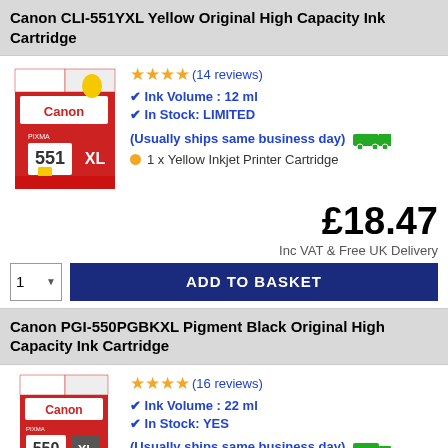Canon CLI-551YXL Yellow Original High Capacity Ink Cartridge
[Figure (photo): Canon CLI-551YXL Yellow ink cartridge box, red and white packaging with Canon PIXMA 551 XL label and yellow ink indicator]
★★★★(14 reviews)
Ink Volume : 12 ml
In Stock: LIMITED
(Usually ships same business day)
1 x Yellow Inkjet Printer Cartridge
£18.47
Inc VAT & Free UK Delivery
1  ADD TO BASKET
Canon PGI-550PGBKXL Pigment Black Original High Capacity Ink Cartridge
[Figure (photo): Canon PGI-550PGBKXL Black ink cartridge box, red and white packaging with Canon PIXMA 550 label]
★★★★(16 reviews)
Ink Volume : 22 ml
In Stock: YES
(Usually ships same business day)